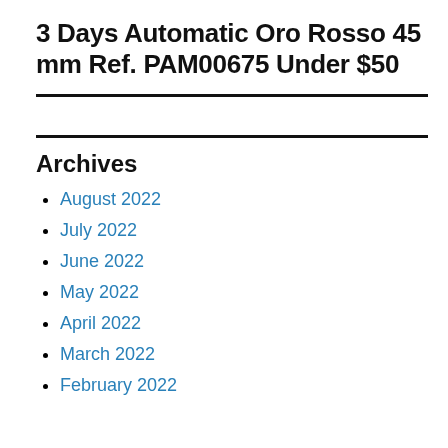3 Days Automatic Oro Rosso 45 mm Ref. PAM00675 Under $50
Archives
August 2022
July 2022
June 2022
May 2022
April 2022
March 2022
February 2022